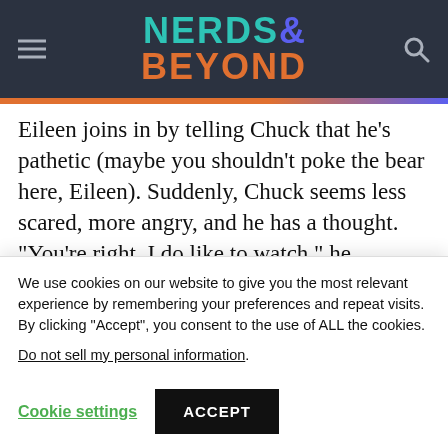NERDS& BEYOND
Eileen joins in by telling Chuck that he’s pathetic (maybe you shouldn’t poke the bear here, Eileen). Suddenly, Chuck seems less scared, more angry, and he has a thought. “You’re right, I do like to watch,” he responds with a grin. Then, he uses his God powers to force Eileen to take the scalpel and approach Sam
We use cookies on our website to give you the most relevant experience by remembering your preferences and repeat visits. By clicking “Accept”, you consent to the use of ALL the cookies.
Do not sell my personal information.
Cookie settings  ACCEPT